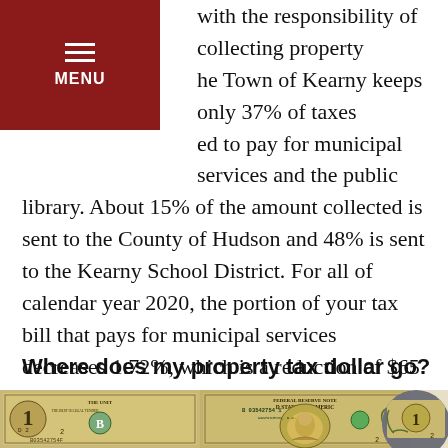MENU
with the responsibility of collecting property the Town of Kearny keeps only 37% of taxes ed to pay for municipal services and the public library. About 15% of the amount collected is sent to the County of Hudson and 48% is sent to the Kearny School District. For all of calendar year 2020, the portion of your tax bill that pays for municipal services decreases 1.72%, which is a reduction of $65 on a residential property with an average assessment. The County's taxes decrease by 3.2%, for a reduction of $50. Kearny School taxes rise by 1.36% or $65. The net impact is an annual decrease of $50 on the average assessment.
Where does my property tax dollar go?
[Figure (photo): Three US one-dollar bills shown side by side, partially visible, depicting the front face of the dollar bill including George Washington's portrait.]